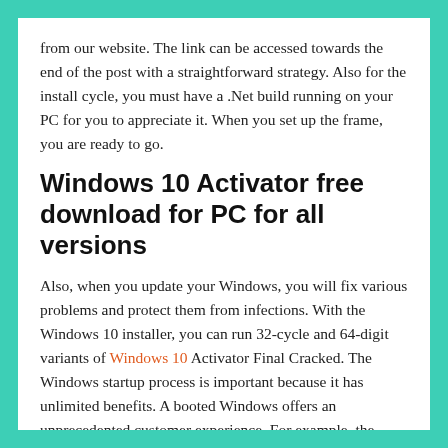from our website. The link can be accessed towards the end of the post with a straightforward strategy. Also for the install cycle, you must have a .Net build running on your PC for you to appreciate it. When you set up the frame, you are ready to go.
Windows 10 Activator free download for PC for all versions
Also, when you update your Windows, you will fix various problems and protect them from infections. With the Windows 10 installer, you can run 32-cycle and 64-digit variants of Windows 10 Activator Final Cracked. The Windows startup process is important because it has unlimited benefits. A booted Windows offers an unprecedented customer experience. For example, the Windows 10 Product Key gives you the latest updates and advanced security highlights.